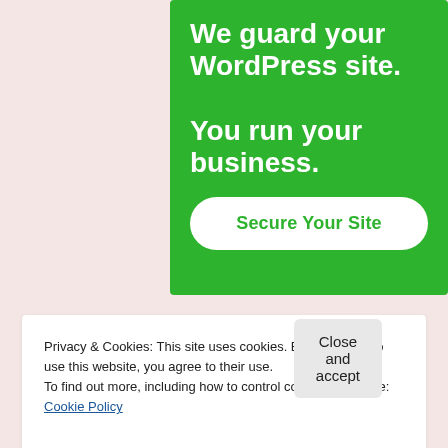[Figure (illustration): Green advertisement banner for a WordPress security service. White bold text reads 'We guard your WordPress site. You run your business.' with a white rounded button labeled 'Secure Your Site' in green text.]
REPORT THIS AD
Privacy & Cookies: This site uses cookies. By continuing to use this website, you agree to their use.
To find out more, including how to control cookies, see here: Cookie Policy
Close and accept